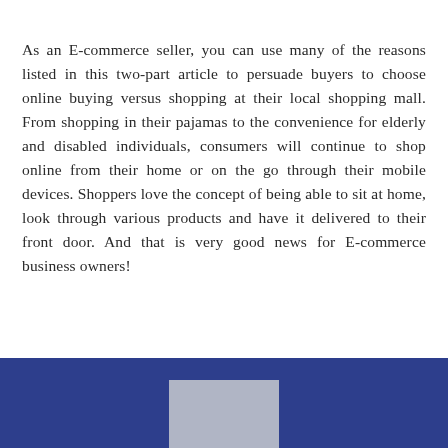As an E-commerce seller, you can use many of the reasons listed in this two-part article to persuade buyers to choose online buying versus shopping at their local shopping mall. From shopping in their pajamas to the convenience for elderly and disabled individuals, consumers will continue to shop online from their home or on the go through their mobile devices. Shoppers love the concept of being able to sit at home, look through various products and have it delivered to their front door. And that is very good news for E-commerce business owners!
[Figure (other): Dark blue footer bar with a grey/silver rectangular box centered at the bottom of the page]